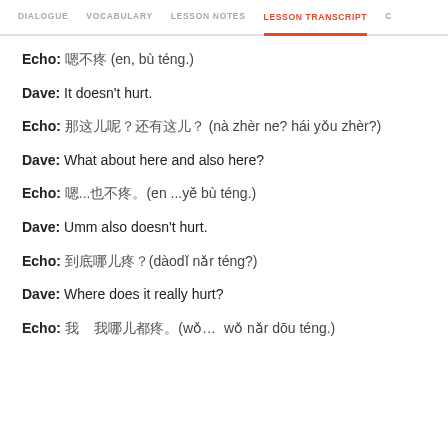DIALOGUE | VOCABULARY | LESSON NOTES | LESSON TRANSCRIPT | C
Echo: 嗯不疼 (en, bù téng.)
Dave: It doesn't hurt.
Echo: 那这儿呢？还有这儿？ (nà zhèr ne? hái yǒu zhèr?)
Dave: What about here and also here?
Echo: 嗯...也不疼。(en ...yě bù téng.)
Dave: Umm also doesn't hurt.
Echo: 到底哪儿疼？(dàodǐ nǎr téng?)
Dave: Where does it really hurt?
Echo: 我…  我哪儿都疼。(wǒ… wǒ nǎr dōu téng.)